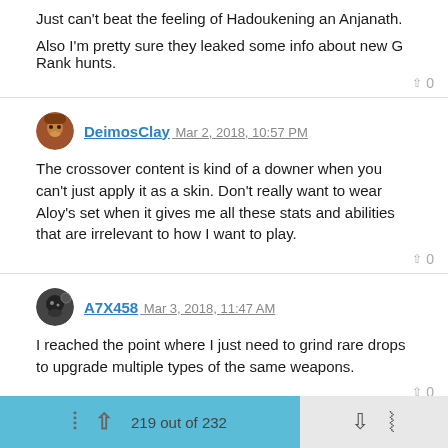Just can't beat the feeling of Hadoukening an Anjanath.
Also I'm pretty sure they leaked some info about new G Rank hunts.
▲ 0
DeimоsClay Mar 2, 2018, 10:57 PM
The crossover content is kind of a downer when you can't just apply it as a skin. Don't really want to wear Aloy's set when it gives me all these stats and abilities that are irrelevant to how I want to play.
▲ 0
A7X458 Mar 3, 2018, 11:47 AM
I reached the point where I just need to grind rare drops to upgrade multiple types of the same weapons.
▲ 0
219 out of 232